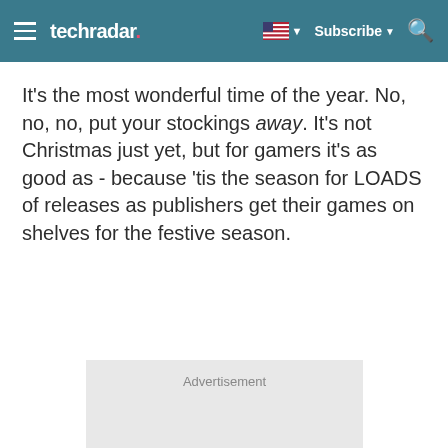techradar
It's the most wonderful time of the year. No, no, no, put your stockings away. It's not Christmas just yet, but for gamers it's as good as - because 'tis the season for LOADS of releases as publishers get their games on shelves for the festive season.
[Figure (other): Advertisement placeholder box with grey background]